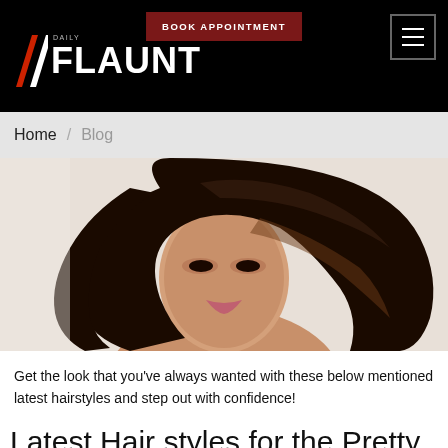BOOK APPOINTMENT | FLAUNT
Home / Blog
[Figure (photo): A woman with long flowing dark brown hair against a white background, posed with confidence, hair swept dramatically to the side.]
Get the look that you've always wanted with these below mentioned latest hairstyles and step out with confidence!
Latest Hair styles for the Pretty Ladies